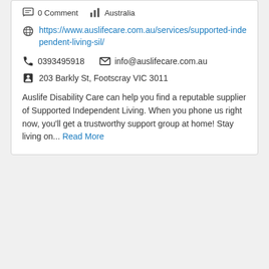0 Comment   Australia
https://www.auslifecare.com.au/services/supported-independent-living-sil/
0393495918   info@auslifecare.com.au
203 Barkly St, Footscray VIC 3011
Auslife Disability Care can help you find a reputable supplier of Supported Independent Living. When you phone us right now, you'll get a trustworthy support group at home! Stay living on... Read More